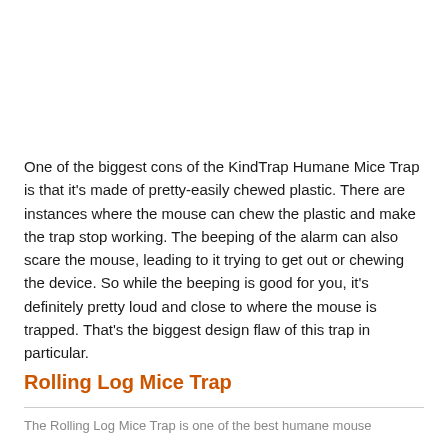One of the biggest cons of the KindTrap Humane Mice Trap is that it's made of pretty-easily chewed plastic. There are instances where the mouse can chew the plastic and make the trap stop working. The beeping of the alarm can also scare the mouse, leading to it trying to get out or chewing the device. So while the beeping is good for you, it's definitely pretty loud and close to where the mouse is trapped. That's the biggest design flaw of this trap in particular.
Rolling Log Mice Trap
The Rolling Log Mice Trap is one of the best humane mouse